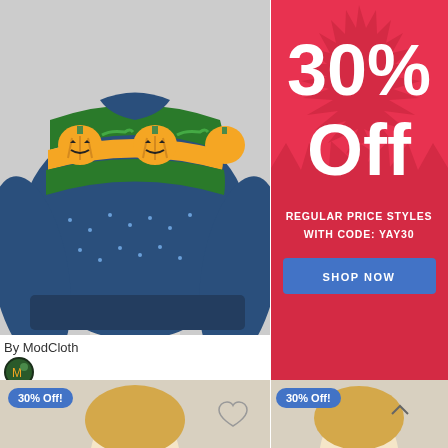[Figure (photo): Halloween/fall pumpkin Fair Isle sweater on a mannequin, navy blue with orange jack-o-lantern and green stripe pattern]
By ModCloth
[Figure (logo): ModCloth circular logo icon with green/dark colors]
Give 'Em Pumpkin To Talk About Fair Isle Sweater
$69.00
30% Off! Use Code YAY30
[Figure (infographic): Red starburst promotional banner with '30% Off' in large white text, 'REGULAR PRICE STYLES WITH CODE: YAY30' below, and a blue 'SHOP NOW' button]
[Figure (photo): Blonde female model in bottom-left area, partial view, with '30% Off!' badge]
[Figure (photo): Blonde female model in bottom-right area, partial view, with '30% Off!' badge and up arrow]